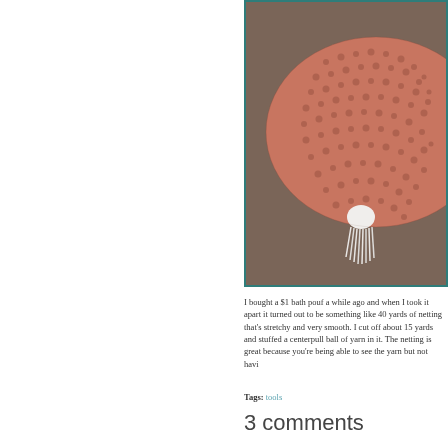[Figure (photo): Close-up photo of a salmon/terracotta colored knitted or netted bath pouf with a white tassel, resting on a grayish-brown surface. The netting texture is clearly visible with open mesh holes.]
I bought a $1 bath pouf a while ago and when I took it apart it turned out to be something like 40 yards of netting that's stretchy and very smooth. I cut off about 15 yards and stuffed a centerpull ball of yarn in it. The netting is great because you're being able to see the yarn but not havi
Tags: tools
3 comments